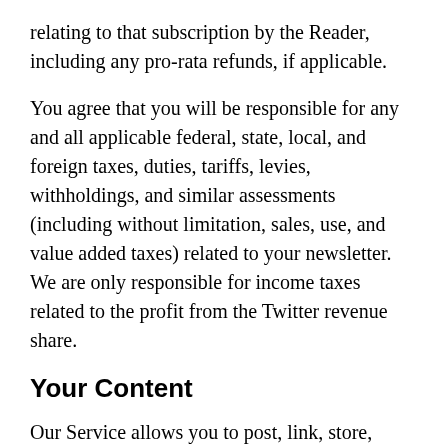relating to that subscription by the Reader, including any pro-rata refunds, if applicable.
You agree that you will be responsible for any and all applicable federal, state, local, and foreign taxes, duties, tariffs, levies, withholdings, and similar assessments (including without limitation, sales, use, and value added taxes) related to your newsletter. We are only responsible for income taxes related to the profit from the Twitter revenue share.
Your Content
Our Service allows you to post, link, store, share and otherwise make available certain information, text, graphics, videos, or other material ("Content"). You are responsible for your Content, including its legality,